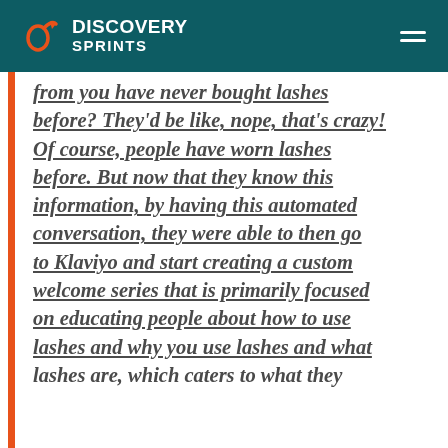DISCOVERY SPRINTS
from you have never bought lashes before? They'd be like, nope, that's crazy! Of course, people have worn lashes before. But now that they know this information, by having this automated conversation, they were able to then go to Klaviyo and start creating a custom welcome series that is primarily focused on educating people about how to use lashes and why you use lashes and what lashes are, which caters to what they